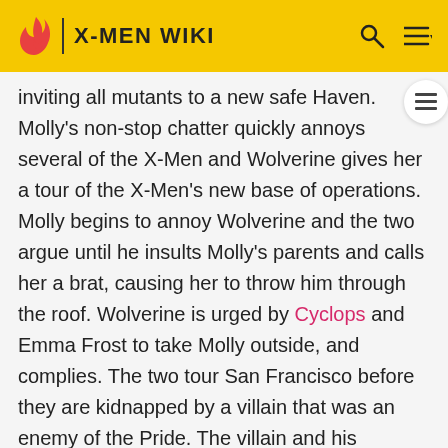X-MEN WIKI
inviting all mutants to a new safe Haven. Molly's non-stop chatter quickly annoys several of the X-Men and Wolverine gives her a tour of the X-Men's new base of operations. Molly begins to annoy Wolverine and the two argue until he insults Molly's parents and calls her a brat, causing her to throw him through the roof. Wolverine is urged by Cyclops and Emma Frost to take Molly outside, and complies. The two tour San Francisco before they are kidnapped by a villain that was an enemy of the Pride. The villain and his soldiers had attempted to claim a portion of Los Angeles, although the Hayes stopped him, massacring his men and putting him in a traumatizing seven-year coma where he could not close his eyes, all for their own sadistic enjoyment. He recovered and seeks revenge against them by telling Molly her parents were